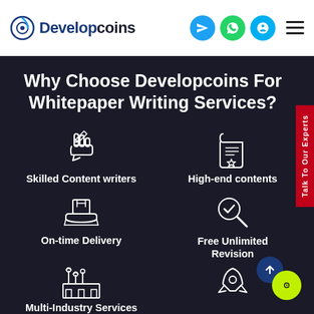[Figure (logo): Developcoins logo with circular icon and text]
[Figure (screenshot): Header navigation icons: Telegram, WhatsApp, Skype circles and hamburger menu]
Why Choose Developcoins For Whitepaper Writing Services?
[Figure (infographic): Four feature icons in a 2x2 grid: pen/writing hand icon, document/scroll icon, package delivery icon, magnifier/check icon, factory/industry icon, rocket icon]
Skilled Content writers
High-end contents
On-time Delivery
Free Unlimited Revision
Multi-Industry Services